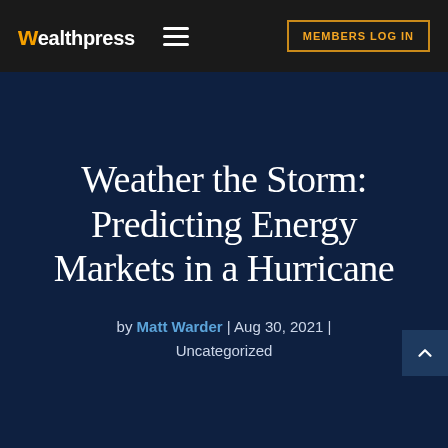wealthpress | MEMBERS LOG IN
Weather the Storm: Predicting Energy Markets in a Hurricane
by Matt Warder | Aug 30, 2021 | Uncategorized